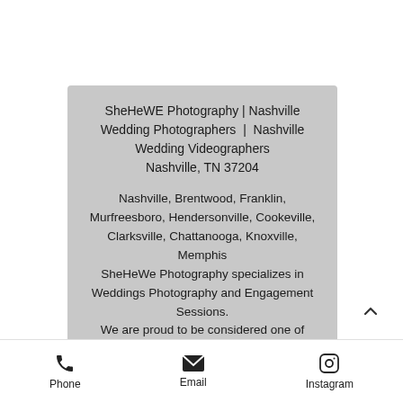SheHeWE Photography | Nashville Wedding Photographers | Nashville Wedding Videographers Nashville, TN 37204
Nashville, Brentwood, Franklin, Murfreesboro, Hendersonville, Cookeville, Clarksville, Chattanooga, Knoxville, Memphis SheHeWe Photography specializes in Weddings Photography and Engagement Sessions. We are proud to be considered one of Nashville's most sought after Wedding Photographers and Nashville Wedding Videographers. Nashville Wedding Video, Nashville Wedding
Phone  Email  Instagram